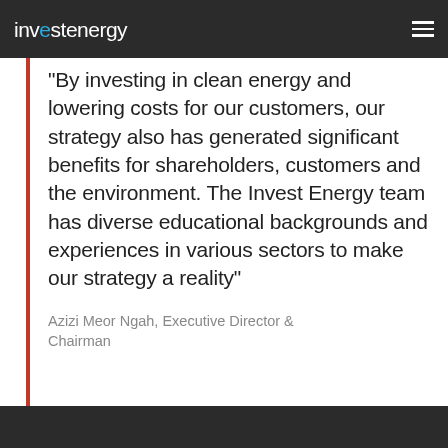investenergy
"By investing in clean energy and lowering costs for our customers, our strategy also has generated significant benefits for shareholders, customers and the environment. The Invest Energy team has diverse educational backgrounds and experiences in various sectors to make our strategy a reality"
Azizi Meor Ngah, Executive Director & Chairman